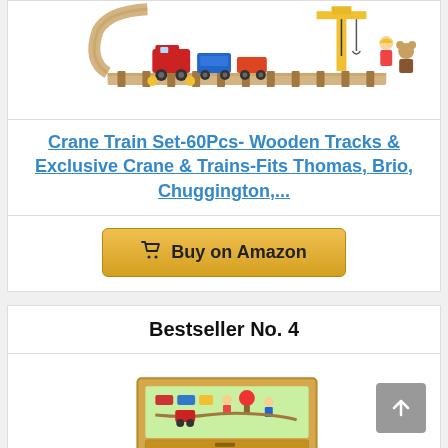[Figure (photo): Crane wooden train set toy product image showing colorful train cars on wooden tracks with small figurines]
Crane Train Set-60Pcs- Wooden Tracks & Exclusive Crane & Trains-Fits Thomas, Brio, Chuggington,...
Buy on Amazon
Bestseller No. 4
[Figure (photo): Wooden toy activity table with train set and colorful pieces inside a rectangular wooden frame with drawer]